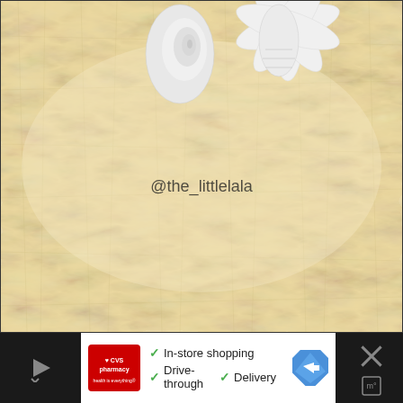[Figure (photo): Photo of white crocheted seashells and starfish arranged on a fluffy cream/beige fur rug. Watermark text '@the_littlelala' visible in the center of the image.]
[Figure (infographic): Advertisement banner for CVS Pharmacy at the bottom of the page. Red CVS Pharmacy logo on left. Features listed: checkmark In-store shopping, checkmark Drive-through, checkmark Delivery. Blue map/navigation diamond icon on right side. Dark black panels on far left and far right, right panel has an X close button and temperature icon.]